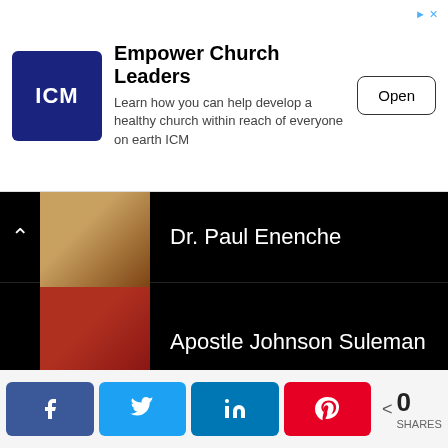[Figure (screenshot): ICM advertisement banner: Empower Church Leaders. Blue square logo with ICM text. Ad text: 'Learn how you can help develop a healthy church within reach of everyone on earth ICM'. Open button on the right.]
Dr. Paul Enenche
Apostle Johnson Suleman
Rev Father Ejike Mbaka
Lawrence Oyor
Rev. Fr. Emmanuel Obimma
[Figure (screenshot): Social share bar with Facebook, Twitter, LinkedIn, Pinterest buttons and share count of 0 SHARES]